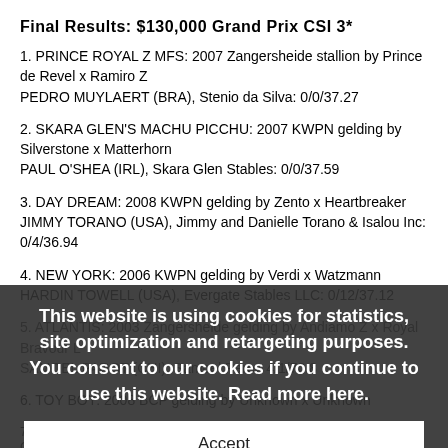Final Results: $130,000 Grand Prix CSI 3*
1. PRINCE ROYAL Z MFS: 2007 Zangersheide stallion by Prince de Revel x Ramiro Z
PEDRO MUYLAERT (BRA), Stenio da Silva: 0/0/37.27
2. SKARA GLEN'S MACHU PICCHU: 2007 KWPN gelding by Silverstone x Matterhorn
PAUL O'SHEA (IRL), Skara Glen Stables: 0/0/37.59
3. DAY DREAM: 2008 KWPN gelding by Zento x Heartbreaker
JIMMY TORANO (USA), Jimmy and Danielle Torano & Isalou Inc: 0/4/36.94
4. NEW YORK: 2006 KWPN gelding by Verdi x Watzmann
HARDIN TOWELL (USA), Evergate Stables LLC: 0/12/37.12
5. ATLANTIS: 2003 Zangersheide gelding by Andiamo Z x Royal Bravour L
SAMOEL PAROT (CHI), Samoel Parot: 4/1/70.8
6. TOY BOY: 2008 BCP gelding by Unknown x Unknown
7. AYMARA DES BERGERIES: 2006 Belgian Sport Horse mare by Canturo
This website is using cookies for statistics, site optimization and retargeting purposes. You consent to our cookies if you continue to use this website. Read more here.
Accept